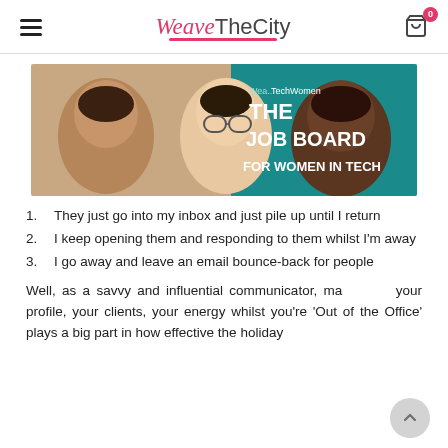WeaveTheCity — navigation header with hamburger menu and cart icon showing 0 items
[Figure (photo): Banner image showing three women smiling, with text overlay: 'Wea... TechWomen THE JOB BOARD FOR WOMEN IN TECH' on a teal/turquoise background]
They just go into my inbox and just pile up until I return
I keep opening them and responding to them whilst I'm away
I go away and leave an email bounce-back for people
Well, as a savvy and influential communicator, ma... your profile, your clients, your energy whilst you're 'Out of the Office' plays a big part in how effective the holiday